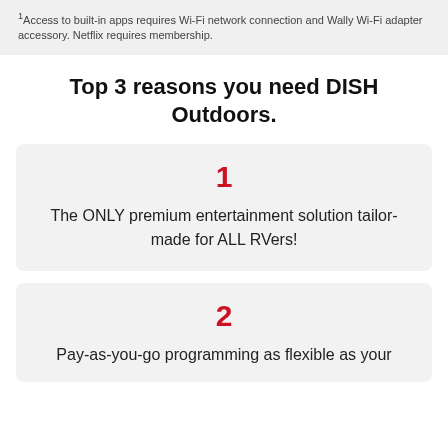1Access to built-in apps requires Wi-Fi network connection and Wally Wi-Fi adapter accessory. Netflix requires membership.
Top 3 reasons you need DISH Outdoors.
1 — The ONLY premium entertainment solution tailor-made for ALL RVers!
2 — Pay-as-you-go programming as flexible as your